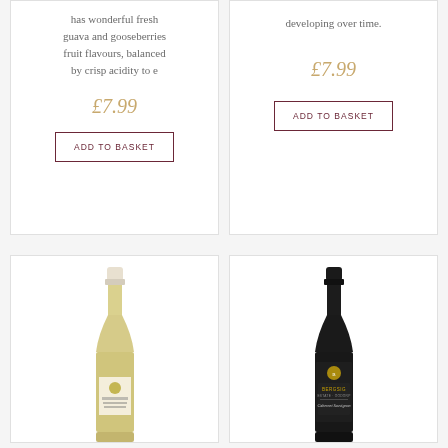has wonderful fresh guava and gooseberries fruit flavours, balanced by crisp acidity to e
£7.99
ADD TO BASKET
developing over time.
£7.99
ADD TO BASKET
[Figure (photo): White wine bottle with cream cap and Bergsig label]
[Figure (photo): Dark red wine bottle with black cap and Bergsig Cabernet Sauvignon label]